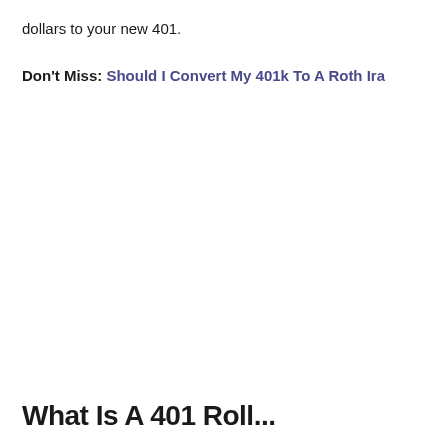dollars to your new 401.
Don't Miss: Should I Convert My 401k To A Roth Ira
What Is A 401 Roll...